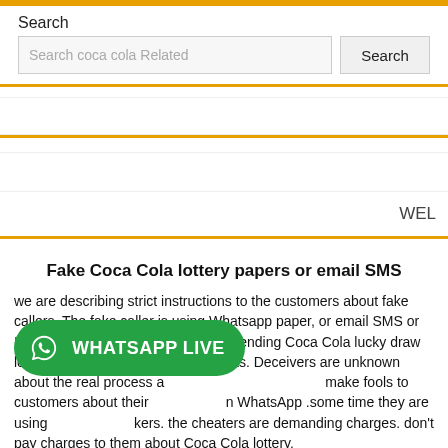Search
Search coca cola Related
WEL
Fake Coca Cola lottery papers or email SMS
we are describing strict instructions to the customers about fake callers. The fake caller is using Whatsapp paper, or email SMS or IMO call or I'd calls. scammers are sending Coca Cola lucky draw lottery paper of unconfirmed amounts. Deceivers are unknown about the real process and information about who make fools to customers about their information on WhatsApp .some time they are using unknown hackers. the cheaters are demanding charges. don't pay charges to them about Coca Cola lottery.
[Figure (other): WhatsApp Live button overlay]
First, confirm it from the Head office about charges or lucky draw. The customers should not follow their said orders. when you can find any